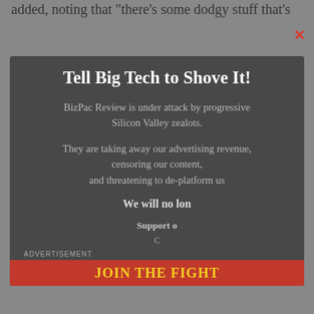added, noting that "there's some dodgy stuff that's
Tell Big Tech to Shove It!
BizPac Review is under attack by progressive Silicon Valley zealots.
They are taking away our advertising revenue, censoring our content, and threatening to de-platform us
We will no lon...
Support o...
C...
ADVERTISEMENT
JOIN THE FIGHT
[Figure (screenshot): Video player showing Joy Behar with BPR logo, playback controls, 8 seconds countdown tooltip]
8 seconds...
Joy Behar Gets
0:00 / 1:40